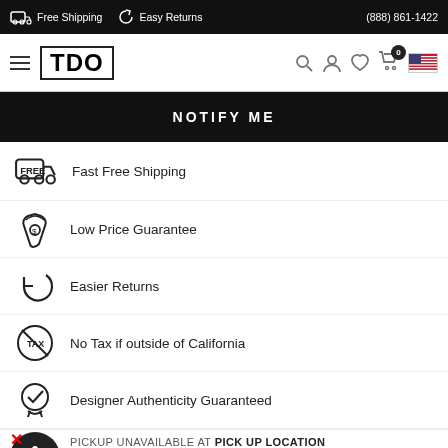Free Shipping   Easy Returns   (888) 861-1422
[Figure (logo): TDO logo in bold black text inside a rectangle border, with hamburger menu icon on left and navigation icons (search, account, wishlist, cart with badge '0', US flag) on right]
NOTIFY ME
Fast Free Shipping
Low Price Guarantee
Easier Returns
No Tax if outside of California
Designer Authenticity Guaranteed
PICKUP UNAVAILABLE AT PICK UP LOCATION
Short Prom Dress Formal Homecoming